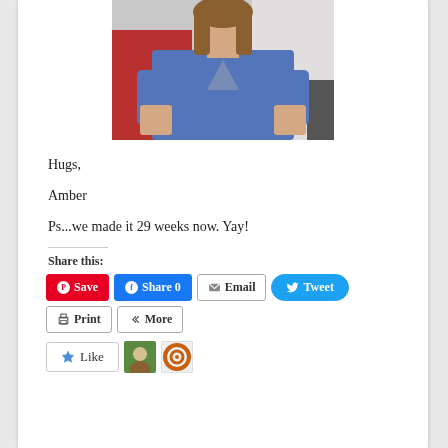[Figure (photo): Photo of a woman with long brown hair wearing a blue v-neck t-shirt, seated in front of red and white bedding]
Hugs,
Amber
Ps...we made it 29 weeks now. Yay!
Share this:
Save | Share 0 | Email | Tweet | Print | More
[Figure (photo): Like button with star icon and two small avatar thumbnails]